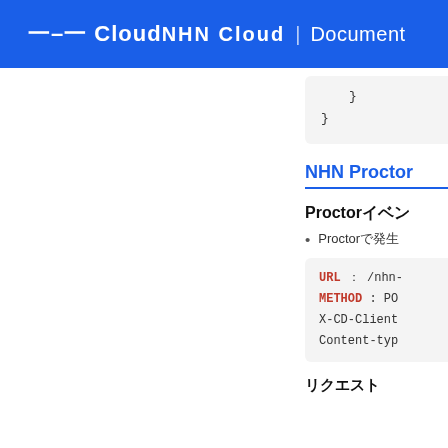NHN Cloud | Document
[Figure (screenshot): Code block showing closing braces of JSON/code snippet: indented } followed by }]
NHN Proctor
Proctorイベント
Proctorで発生
[Figure (screenshot): API code block showing: URL : /nhn-, METHOD : PO, X-CD-Client, Content-typ]
リクエスト